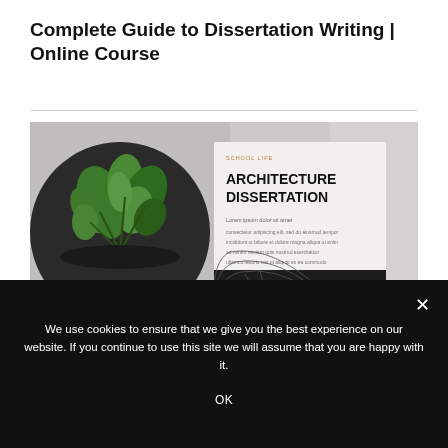Complete Guide to Dissertation Writing | Online Course
[Figure (photo): A flat-lay photograph showing a potted green plant in a dark bowl on a grey surface, beside an 'Architecture Dissertation' book/booklet. The book has a white upper half with bold black title text and a dark patterned lower half with a geometric mesh pattern.]
We use cookies to ensure that we give you the best experience on our website. If you continue to use this site we will assume that you are happy with it.
OK